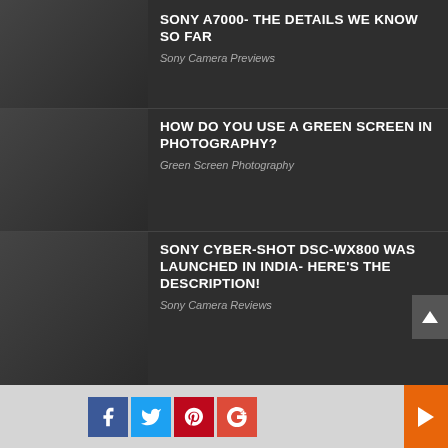SONY A7000- THE DETAILS WE KNOW SO FAR
Sony Camera Previews
HOW DO YOU USE A GREEN SCREEN IN PHOTOGRAPHY?
Green Screen Photography
SONY CYBER-SHOT DSC-WX800 WAS LAUNCHED IN INDIA- HERE'S THE DESCRIPTION!
Sony Camera Reviews
HOW TO START A SMALL VINYL CUTTING BUSINESS